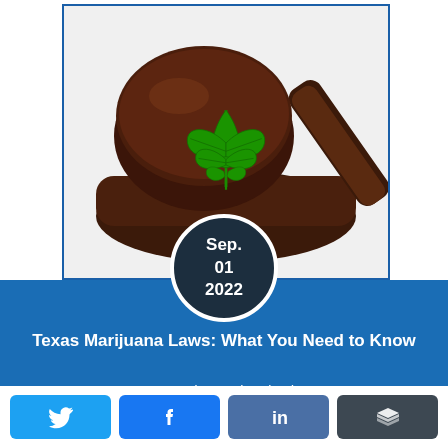[Figure (photo): A judge's gavel with a cannabis/marijuana leaf on top of it, symbolizing marijuana law and legal matters.]
Texas Marijuana Laws: What You Need to Know
Posted By: John Floyd
[Figure (other): Social sharing buttons: Twitter, Facebook, LinkedIn, Buffer]